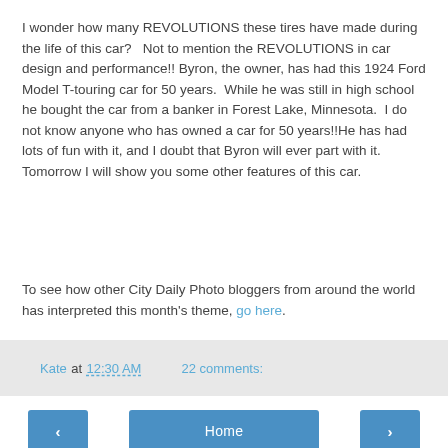I wonder how many REVOLUTIONS these tires have made during the life of this car?   Not to mention the REVOLUTIONS in car design and performance!! Byron, the owner, has had this 1924 Ford Model T-touring car for 50 years.  While he was still in high school he bought the car from a banker in Forest Lake, Minnesota.  I do not know anyone who has owned a car for 50 years!!He has had lots of fun with it, and I doubt that Byron will ever part with it. Tomorrow I will show you some other features of this car.
To see how other City Daily Photo bloggers from around the world has interpreted this month's theme, go here.
Kate at 12:30 AM   22 comments:
‹  Home  ›
View web version